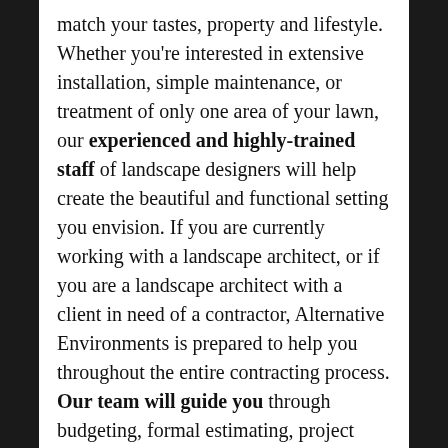match your tastes, property and lifestyle. Whether you're interested in extensive installation, simple maintenance, or treatment of only one area of your lawn, our experienced and highly-trained staff of landscape designers will help create the beautiful and functional setting you envision. If you are currently working with a landscape architect, or if you are a landscape architect with a client in need of a contractor, Alternative Environments is prepared to help you throughout the entire contracting process. Our team will guide you through budgeting, formal estimating, project management and property maintenance to make sure your landscape reaches its full potential.